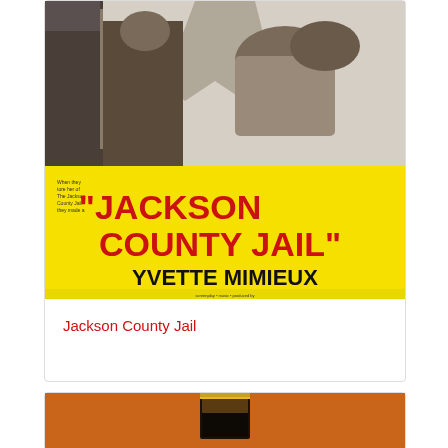[Figure (photo): Movie poster for 'Jackson County Jail' featuring Yvette Mimieux. The poster has a yellow background with red bold text reading 'JACKSON COUNTY JAIL' and black bold text reading 'YVETTE MIMIEUX'. The upper portion shows black-and-white photographic imagery of figures.]
Jackson County Jail
[Figure (photo): Partial view of what appears to be an object on an orange/brown background, showing a dark rectangular shape at the bottom of the page.]